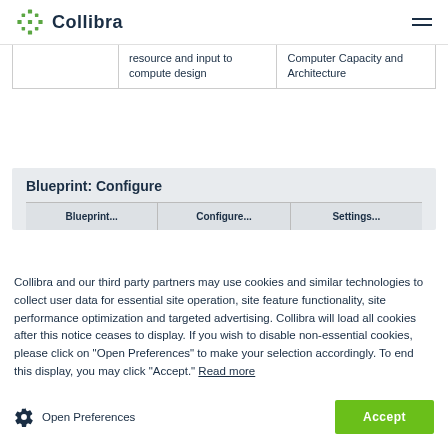Collibra
|  | resource and input to compute design | Computer Capacity and Architecture |
| --- | --- | --- |
|  | resource and input to compute design | Computer Capacity and Architecture |
Blueprint: Configure
Collibra and our third party partners may use cookies and similar technologies to collect user data for essential site operation, site feature functionality, site performance optimization and targeted advertising. Collibra will load all cookies after this notice ceases to display. If you wish to disable non-essential cookies, please click on "Open Preferences" to make your selection accordingly. To end this display, you may click "Accept." Read more
Open Preferences
Accept